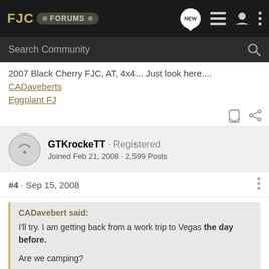FJC Forums
2007 Black Cherry FJC, AT, 4x4... Just look here.... CADaveberts Eggplant FJ
GTKrockeTT · Registered
Joined Feb 21, 2008 · 2,599 Posts
#4 · Sep 15, 2008
CADavebert said:
I'll try. I am getting back from a work trip to Vegas the day before.

Are we camping?
you've got no excuses now.